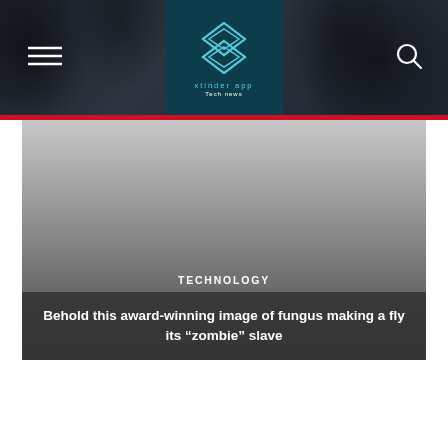xtinder app — Tech news
[Figure (photo): Hero image area with gradient gray background representing a photo of fungus making a fly its zombie slave, with category label TECHNOLOGY and article title overlaid]
Behold this award-winning image of fungus making a fly its “zombie” slave